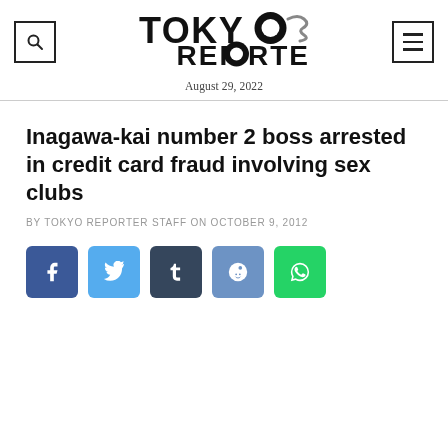Tokyo Reporter — August 29, 2022
Inagawa-kai number 2 boss arrested in credit card fraud involving sex clubs
BY TOKYO REPORTER STAFF ON OCTOBER 9, 2012
[Figure (other): Social share buttons: Facebook, Twitter, Tumblr, Reddit, WhatsApp]